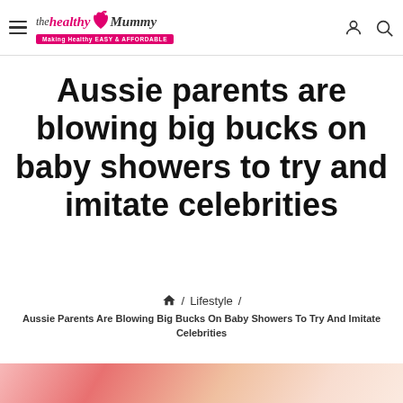the healthy Mummy — Making Healthy EASY & AFFORDABLE
Aussie parents are blowing big bucks on baby showers to try and imitate celebrities
🏠 / Lifestyle / Aussie Parents Are Blowing Big Bucks On Baby Showers To Try And Imitate Celebrities
[Figure (photo): Partial view of a colourful baby shower themed image at the bottom of the page, showing pink and coral tones.]